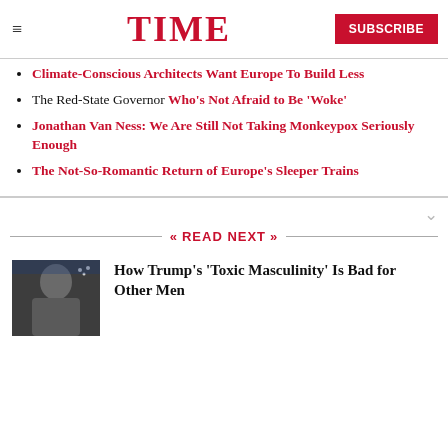TIME  SUBSCRIBE
Climate-Conscious Architects Want Europe To Build Less
The Red-State Governor Who's Not Afraid to Be 'Woke'
Jonathan Van Ness: We Are Still Not Taking Monkeypox Seriously Enough
The Not-So-Romantic Return of Europe's Sleeper Trains
READ NEXT
How Trump's 'Toxic Masculinity' Is Bad for Other Men